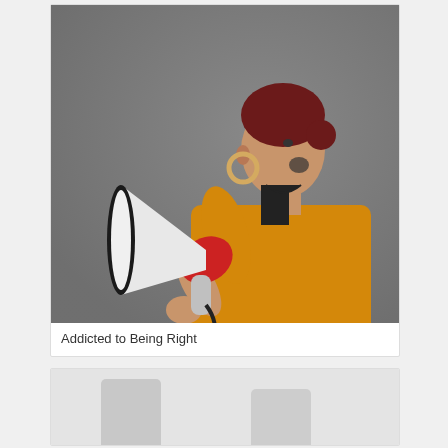[Figure (photo): A woman with red hair wearing an orange sweater, shouting into a red and white megaphone, against a grey background.]
Addicted to Being Right
[Figure (photo): Bottom portion of another photo partially visible, appears to show two people.]